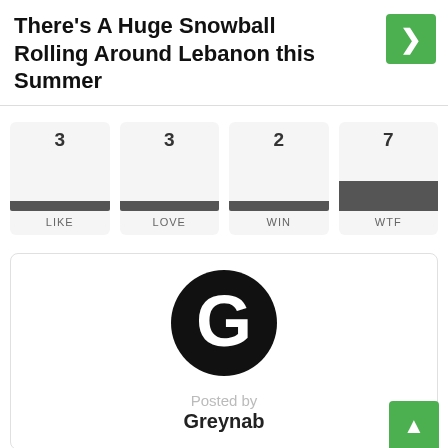There's A Huge Snowball Rolling Around Lebanon this Summer
[Figure (infographic): Four reaction cards labeled LIKE (3), LOVE (3), WIN (2), WTF (7), each with a count number and a gray progress bar at the bottom. The WTF card has a darker/taller bar indicating it is selected or highlighted.]
[Figure (logo): A black circle containing a white bold letter G — the Greynab logo.]
Posted by
Greynab